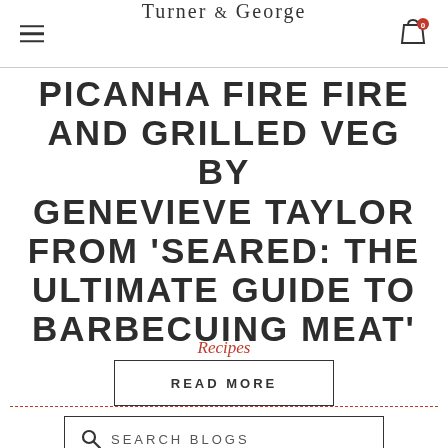Turner & George
PICANHA FIRE FIRE AND GRILLED VEG BY GENEVIEVE TAYLOR FROM 'SEARED: THE ULTIMATE GUIDE TO BARBECUING MEAT'
Recipes
READ MORE
SEARCH BLOGS